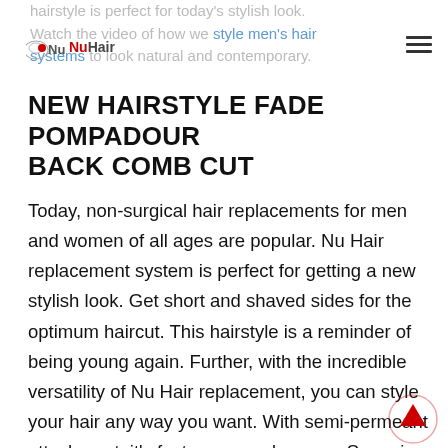hairstyle is perfect for today's stylish look. Watch the video of how we style men's hair systems to look natural and contemporary.
[Figure (logo): NuHair logo with red dot and brand name]
NEW HAIRSTYLE FADE POMPADOUR BACK COMB CUT
Today, non-surgical hair replacements for men and women of all ages are popular. Nu Hair replacement system is perfect for getting a new stylish look. Get short and shaved sides for the optimum haircut. This hairstyle is a reminder of being young again. Further, with the incredible versatility of Nu Hair replacement, you can style your hair any way you want. With semi-permeant attachment, it's fast, easy, and secure. So, enjoy your new experiences with ou.